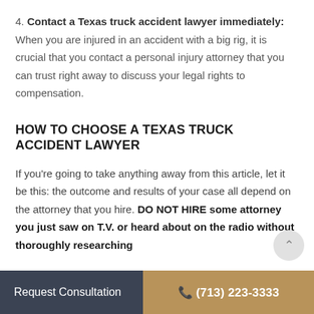4. Contact a Texas truck accident lawyer immediately: When you are injured in an accident with a big rig, it is crucial that you contact a personal injury attorney that you can trust right away to discuss your legal rights to compensation.
HOW TO CHOOSE A TEXAS TRUCK ACCIDENT LAWYER
If you're going to take anything away from this article, let it be this: the outcome and results of your case all depend on the attorney that you hire. DO NOT HIRE some attorney you just saw on T.V. or heard about on the radio without thoroughly researching
Request Consultation  ☎ (713) 223-3333